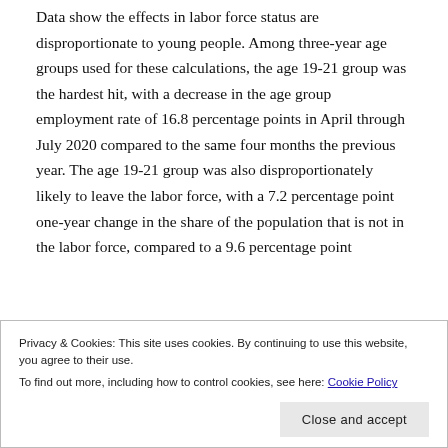Data show the effects in labor force status are disproportionate to young people. Among three-year age groups used for these calculations, the age 19-21 group was the hardest hit, with a decrease in the age group employment rate of 16.8 percentage points in April through July 2020 compared to the same four months the previous year. The age 19-21 group was also disproportionately likely to leave the labor force, with a 7.2 percentage point one-year change in the share of the population that is not in the labor force, compared to a 9.6 percentage point
[Figure (bar-chart): Partial bar chart visible at the very bottom of the page, showing an orange bar with axis ticks, chart content mostly obscured by cookie banner.]
Privacy & Cookies: This site uses cookies. By continuing to use this website, you agree to their use.
To find out more, including how to control cookies, see here: Cookie Policy